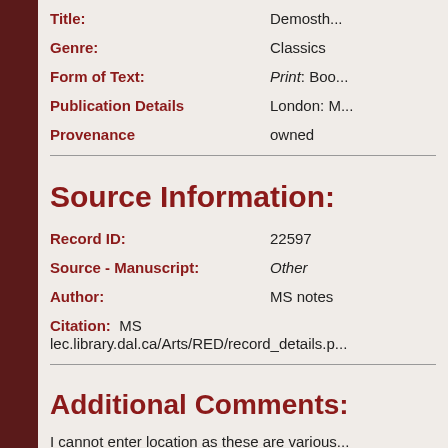Title: Demosth...
Genre: Classics
Form of Text: Print: Boo...
Publication Details: London: M...
Provenance: owned
Source Information:
Record ID: 22597
Source - Manuscript: Other
Author: MS notes
Citation: MS lec.library.dal.ca/Arts/RED/record_details.p...
Additional Comments:
I cannot enter location as these are various...